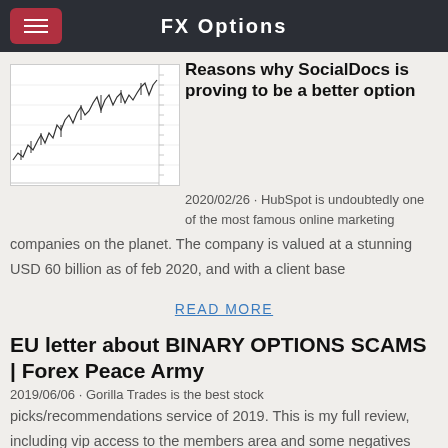FX Options
Reasons why SocialDocs is proving to be a better option
2020/02/26 · HubSpot is undoubtedly one of the most famous online marketing companies on the planet. The company is valued at a stunning USD 60 billion as of feb 2020, and with a client base
READ MORE
EU letter about BINARY OPTIONS SCAMS | Forex Peace Army
2019/06/06 · Gorilla Trades is the best stock picks/recommendations service of 2019. This is my full review, including vip access to the members area and some negatives based on my experience.